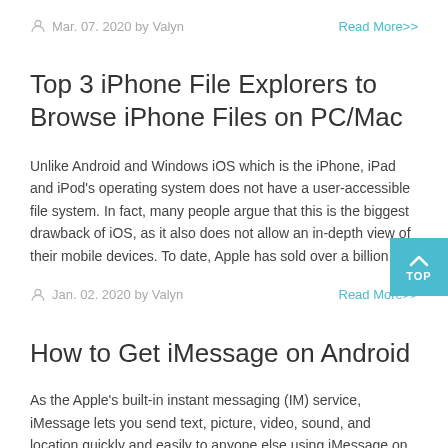Mar. 07. 2020 by Valyn   Read More>>
Top 3 iPhone File Explorers to Browse iPhone Files on PC/Mac
Unlike Android and Windows iOS which is the iPhone, iPad and iPod's operating system does not have a user-accessible file system. In fact, many people argue that this is the biggest drawback of iOS, as it also does not allow an in-depth view of their mobile devices. To date, Apple has sold over a billion [...]
Jan. 02. 2020 by Valyn   Read More>>
How to Get iMessage on Android
As the Apple's built-in instant messaging (IM) service, iMessage lets you send text, picture, video, sound, and location quickly and easily to anyone else using iMessage on iPhone, iPad, Mac, or Apple Watch. However, what should you